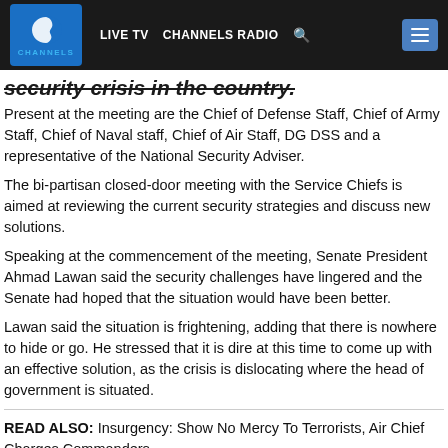LIVE TV  CHANNELS RADIO
security crisis in the country.
Present at the meeting are the Chief of Defense Staff, Chief of Army Staff, Chief of Naval staff, Chief of Air Staff, DG DSS and a representative of the National Security Adviser.
The bi-partisan closed-door meeting with the Service Chiefs is aimed at reviewing the current security strategies and discuss new solutions.
Speaking at the commencement of the meeting, Senate President Ahmad Lawan said the security challenges have lingered and the Senate had hoped that the situation would have been better.
Lawan said the situation is frightening, adding that there is nowhere to hide or go. He stressed that it is dire at this time to come up with an effective solution, as the crisis is dislocating where the head of government is situated.
READ ALSO: Insurgency: Show No Mercy To Terrorists, Air Chief Charges Commanders